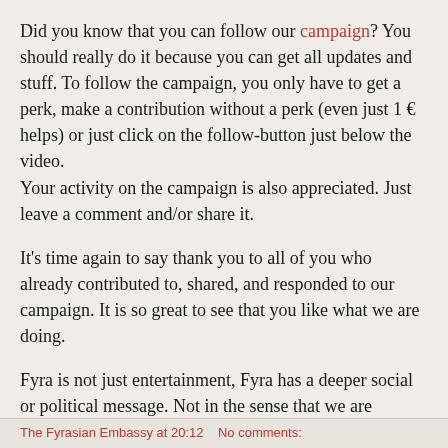Did you know that you can follow our campaign? You should really do it because you can get all updates and stuff. To follow the campaign, you only have to get a perk, make a contribution without a perk (even just 1 € helps) or just click on the follow-button just below the video.
Your activity on the campaign is also appreciated. Just leave a comment and/or share it.
It's time again to say thank you to all of you who already contributed to, shared, and responded to our campaign. It is so great to see that you like what we are doing.
Fyra is not just entertainment, Fyra has a deeper social or political message. Not in the sense that we are supporting a political party or whatever. But in the sense that we take topics from this world and try to ask the right questions to be able to give really good answers. Over the weekend we want to tell you more about it. We are going to discuss the concept of the Outcast Society.
The Fyrasian Embassy at 20:12   No comments: